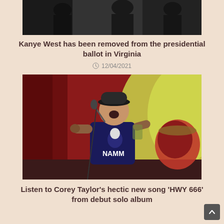[Figure (photo): Partial photo of people at top of page, dark clothing visible]
Kanye West has been removed from the presidential ballot in Virginia
⊙ 12/04/2021
[Figure (photo): Concert photo of Corey Taylor performing on stage, singing into a microphone, wearing a black hat and NAMM t-shirt, with red and green lighting in background]
Listen to Corey Taylor's hectic new song 'HWY 666' from debut solo album